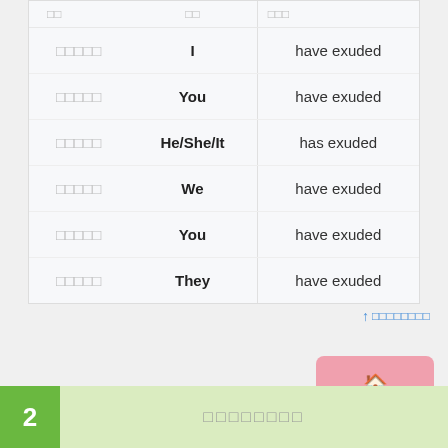| □□ | □□ | □□□ |
| --- | --- | --- |
| □□□□□ | I | have exuded |
| □□□□□ | You | have exuded |
| □□□□□ | He/She/It | has exuded |
| □□□□□ | We | have exuded |
| □□□□□ | You | have exuded |
| □□□□□ | They | have exuded |
↑ □□□□□□□□
[Figure (other): Pink button with home icon and text]
2 □□□□□□□□